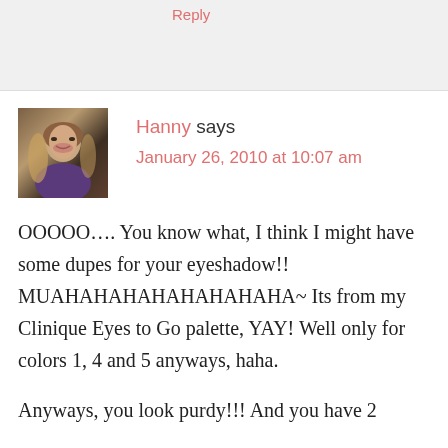Reply
[Figure (photo): Small avatar photo of Hanny, a young woman with blonde-highlighted hair and red lipstick]
Hanny says
January 26, 2010 at 10:07 am
OOOOO…. You know what, I think I might have some dupes for your eyeshadow!! MUAHAHAHAHAHAHAHAHA~ Its from my Clinique Eyes to Go palette, YAY! Well only for colors 1, 4 and 5 anyways, haha.
Anyways, you look purdy!!! And you have 2